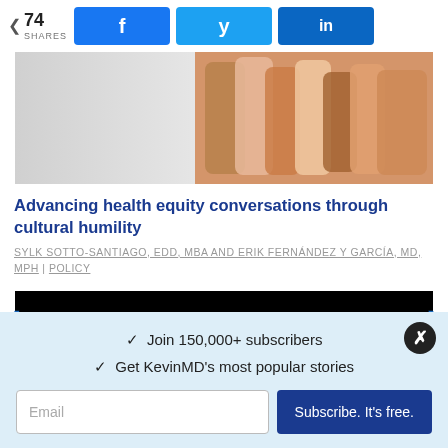74 SHARES | Facebook | Twitter | LinkedIn
[Figure (photo): Article header image showing a collection of colorful sculpted human face profiles representing diversity, fading from grey on the left to colorful on the right]
Advancing health equity conversations through cultural humility
SYLK SOTTO-SANTIAGO, EDD, MBA AND ERIK FERNÁNDEZ Y GARCÍA, MD, MPH | POLICY
[Figure (other): Black banner/advertisement rectangle]
✓ Join 150,000+ subscribers
✓ Get KevinMD's most popular stories
Email | Subscribe. It's free.